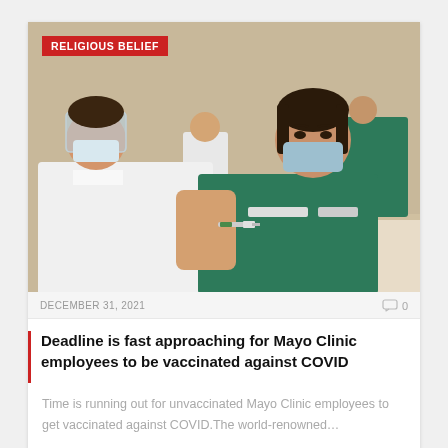[Figure (photo): A healthcare worker in white coat, face shield, and gloves administering a vaccine injection to a young woman wearing teal scrubs and a blue surgical mask, seated at a table. Background shows other people in a clinical/vaccination setting.]
RELIGIOUS BELIEF
DECEMBER 31, 2021
0
Deadline is fast approaching for Mayo Clinic employees to be vaccinated against COVID
Time is running out for unvaccinated Mayo Clinic employees to get vaccinated against COVID.The world-renowned…